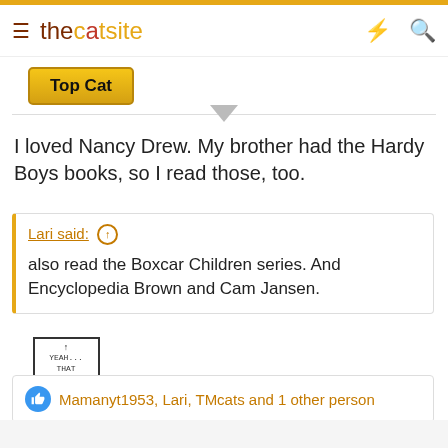thecatsite
Top Cat
I loved Nancy Drew. My brother had the Hardy Boys books, so I read those, too.
Lari said: ↑
also read the Boxcar Children series. And Encyclopedia Brown and Cam Jansen.
[Figure (illustration): A small pixel-art emoji of a figure holding a 'Yeah... That' sign with a smiley face]
Mamanyt1953, Lari, TMcats and 1 other person